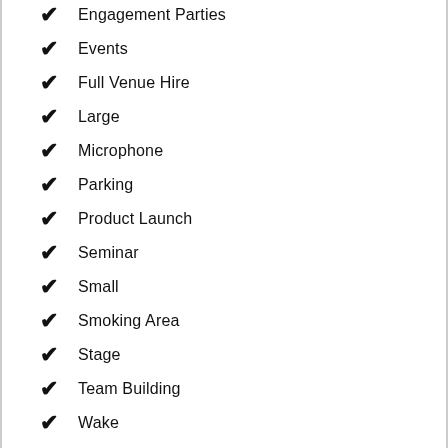Engagement Parties
Events
Full Venue Hire
Large
Microphone
Parking
Product Launch
Seminar
Small
Smoking Area
Stage
Team Building
Wake
Weddings